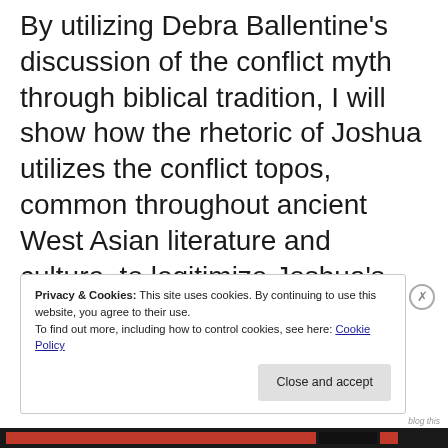By utilizing Debra Ballentine's discussion of the conflict myth through biblical tradition, I will show how the rhetoric of Joshua utilizes the conflict topos, common throughout ancient West Asian literature and culture, to legitimize Joshua's destruction of Jericho
Privacy & Cookies: This site uses cookies. By continuing to use this website, you agree to their use. To find out more, including how to control cookies, see here: Cookie Policy